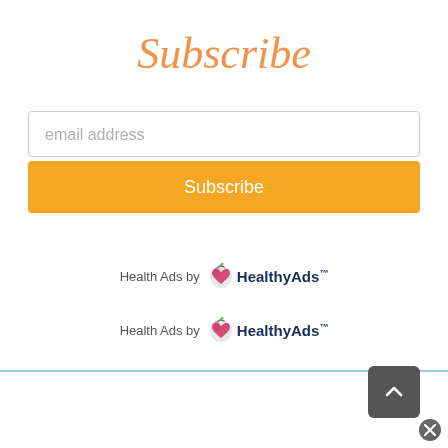Subscribe
email address
Subscribe
[Figure (logo): Health Ads by HealthyAds logo - first instance]
[Figure (logo): Health Ads by HealthyAds logo - second instance]